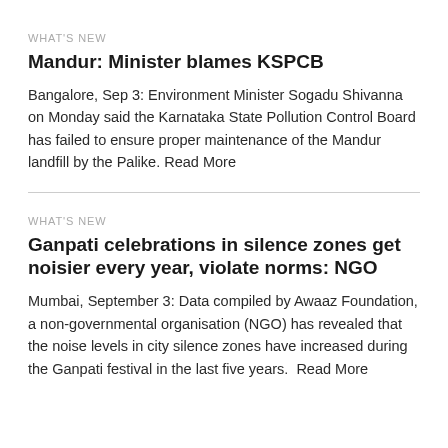WHAT'S NEW
Mandur: Minister blames KSPCB
Bangalore, Sep 3: Environment Minister Sogadu Shivanna on Monday said the Karnataka State Pollution Control Board has failed to ensure proper maintenance of the Mandur landfill by the Palike. Read More
WHAT'S NEW
Ganpati celebrations in silence zones get noisier every year, violate norms: NGO
Mumbai, September 3: Data compiled by Awaaz Foundation, a non-governmental organisation (NGO) has revealed that the noise levels in city silence zones have increased during the Ganpati festival in the last five years.  Read More